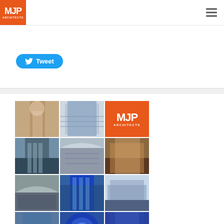[Figure (logo): MJP Architects logo - orange square with white MJP text and ARCHITECTS below]
[Figure (other): Twitter Tweet button in blue with bird icon]
[Figure (photo): Grid of 15 architectural photos showing various MJP Architects buildings and projects, including an orange MJP logo tile]
An Introduction to MJP
This booklet introduces MJP Architects, the way we work, and the sectors we are working in.